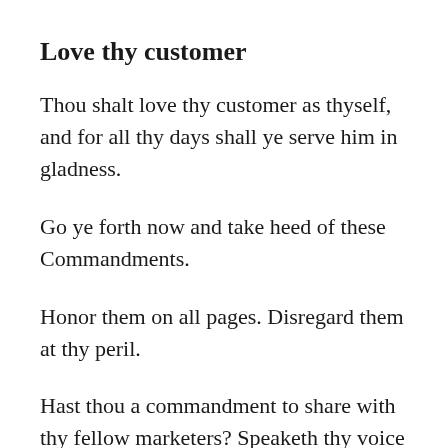Love thy customer
Thou shalt love thy customer as thyself, and for all thy days shall ye serve him in gladness.
Go ye forth now and take heed of these Commandments.
Honor them on all pages. Disregard them at thy peril.
Hast thou a commandment to share with thy fellow marketers? Speaketh thy voice within